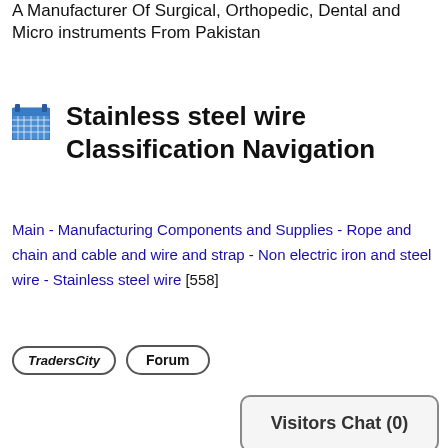A Manufacturer Of Surgical, Orthopedic, Dental and Micro instruments From Pakistan
Stainless steel wire Classification Navigation
Main - Manufacturing Components and Supplies - Rope and chain and cable and wire and strap - Non electric iron and steel wire - Stainless steel wire [558]
[Figure (other): TradersCity button and Forum button]
[Figure (other): Visitors Chat (0) panel]